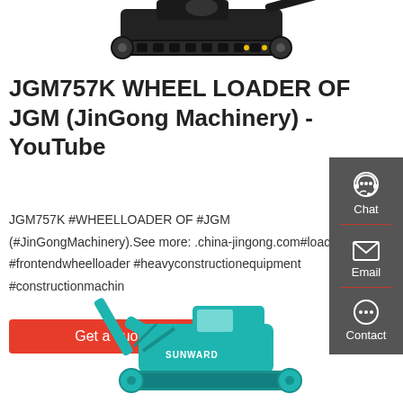[Figure (photo): Black excavator/construction machine with rubber tracks, top portion visible]
JGM757K WHEEL LOADER OF JGM (JinGong Machinery) - YouTube
JGM757K #WHEELLOADER OF #JGM (#JinGongMachinery).See more: .china-jingong.com#loader #frontendwheelloader #heavyconstructionequipment #constructionmachin
[Figure (infographic): Right sidebar with dark gray background showing Chat, Email, and Contact icons]
Get a quote
[Figure (photo): Teal/turquoise Sunward excavator, bottom portion visible with SUNWARD brand text]